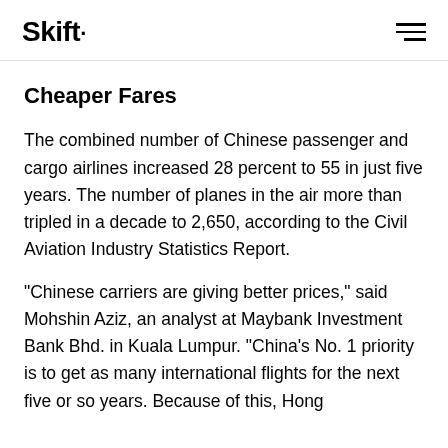Skift
Cheaper Fares
The combined number of Chinese passenger and cargo airlines increased 28 percent to 55 in just five years. The number of planes in the air more than tripled in a decade to 2,650, according to the Civil Aviation Industry Statistics Report.
“Chinese carriers are giving better prices,” said Mohshin Aziz, an analyst at Maybank Investment Bank Bhd. in Kuala Lumpur. “China’s No. 1 priority is to get as many international flights for the next five or so years. Because of this, Hong